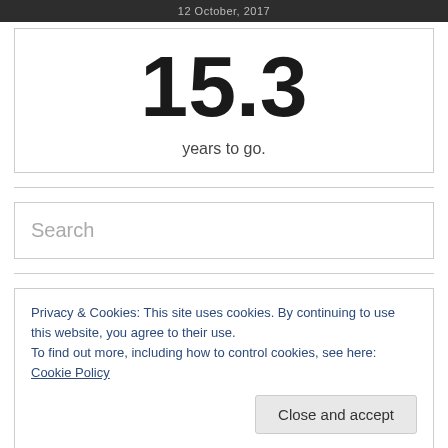12 October, 2017
15.3
years to go.
Search
Privacy & Cookies: This site uses cookies. By continuing to use this website, you agree to their use.
To find out more, including how to control cookies, see here: Cookie Policy
Close and accept
Select Category